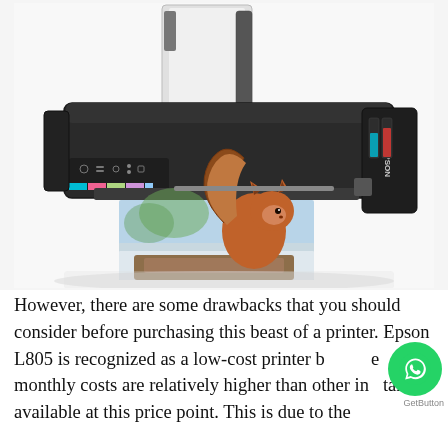[Figure (photo): Epson L805 inkjet printer with a squirrel photo being printed, showing paper tray at back and ink tank on right side. EPSON branding visible on right side.]
However, there are some drawbacks that you should consider before purchasing this beast of a printer. Epson L805 is recognized as a low-cost printer but the monthly costs are relatively higher than other ink tanks available at this price point. This is due to the